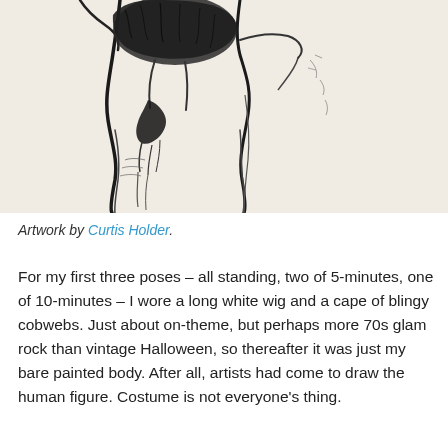[Figure (illustration): A pencil or ink sketch of a human figure, showing the torso and neck area with expressive line work. The drawing is on a light/cream paper background with bold dark contour lines.]
Artwork by Curtis Holder.
For my first three poses – all standing, two of 5-minutes, one of 10-minutes – I wore a long white wig and a cape of blingy cobwebs. Just about on-theme, but perhaps more 70s glam rock than vintage Halloween, so thereafter it was just my bare painted body. After all, artists had come to draw the human figure. Costume is not everyone's thing.